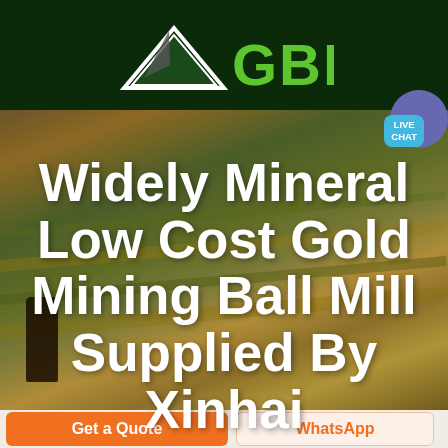[Figure (logo): GBM logo with mountain/peak icon in dark green header bar. White mountain outline with grey arrow, next to bold green GBM text]
[Figure (screenshot): Green navigation bar with hamburger menu and Live Chat bubble on right side]
[Figure (photo): Aerial/drone photo background of farmland fields with warm golden-green tones. Dark silhouette tree on left side.]
Widely Mineral Low Cost Gold Mining Ball Mill Supplied By Xinhai
Get a Quote
WhatsApp